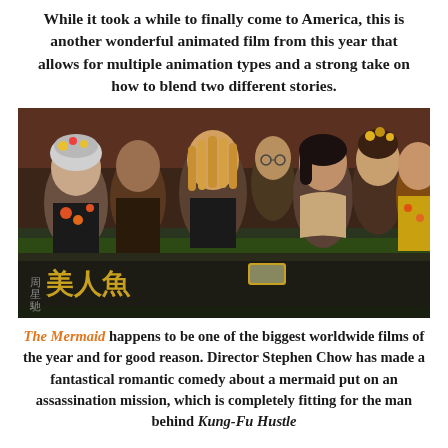While it took a while to finally come to America, this is another wonderful animated film from this year that allows for multiple animation types and a strong take on how to blend two different stories.
[Figure (photo): A group of people, appearing to be mermaids or sea creatures in costume, leaning over a wooden table in what looks like a scene from the movie The Mermaid (美人鱼). The film's Chinese title and logo appear in gold in the lower left corner.]
The Mermaid happens to be one of the biggest worldwide films of the year and for good reason. Director Stephen Chow has made a fantastical romantic comedy about a mermaid put on an assassination mission, which is completely fitting for the man behind Kung-Fu Hustle